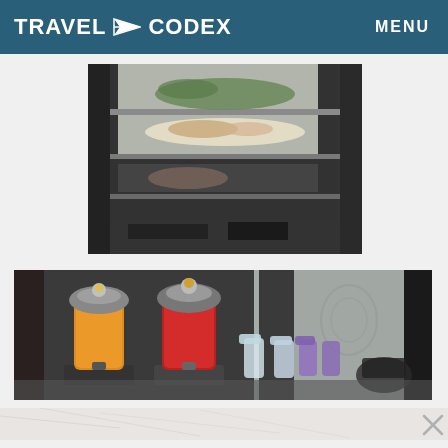TRAVEL CODEX   MENU
[Figure (photo): Close-up photo of a food display case with multiple shelves showing dishes including salads and plates of food, metal wire shelving unit with glass panels]
[Figure (photo): Photo of a juice/beverage station with two large dispensers containing orange juice and red/tomato juice, with water bottles in the foreground and decorative background]
[Figure (photo): Bottom strip showing a light-colored textured surface with an X close button in the lower right corner]